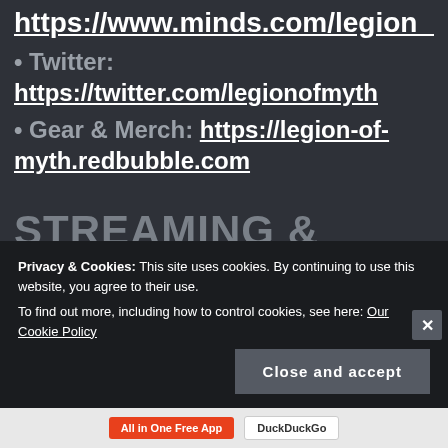https://www.minds.com/legion_of_m…
• Twitter: https://twitter.com/legionofmyth
• Gear & Merch: https://legion-of-myth.redbubble.com
STREAMING & VIDEO
Privacy & Cookies: This site uses cookies. By continuing to use this website, you agree to their use.
To find out more, including how to control cookies, see here: Our Cookie Policy
Close and accept